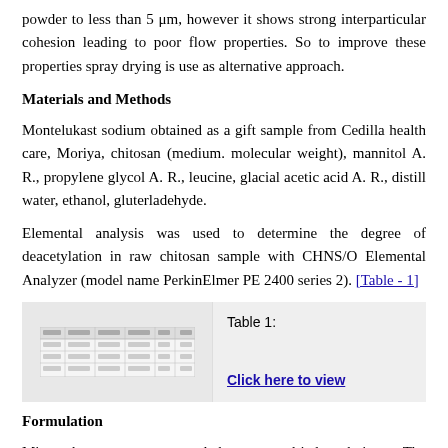powder to less than 5 μm, however it shows strong interparticular cohesion leading to poor flow properties. So to improve these properties spray drying is use as alternative approach.
Materials and Methods
Montelukast sodium obtained as a gift sample from Cedilla health care, Moriya, chitosan (medium. molecular weight), mannitol A. R., propylene glycol A. R., leucine, glacial acetic acid A. R., distill water, ethanol, gluterladehyde.
Elemental analysis was used to determine the degree of deacetylation in raw chitosan sample with CHNS/O Elemental Analyzer (model name PerkinElmer PE 2400 series 2). [Table - 1]
[Figure (table-as-image): Thumbnail image of Table 1 showing a data table with multiple columns]
Table 1:
Click here to view
Formulation
Microspheres were prepared by spray dried technique. The chitosan-Drug